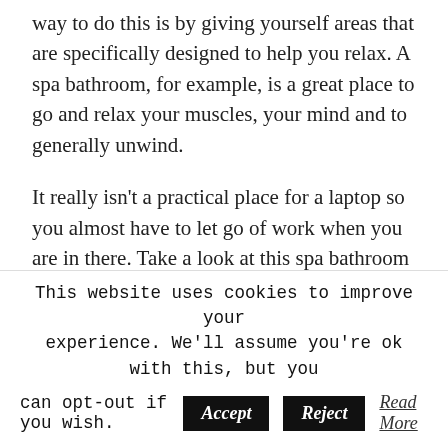way to do this is by giving yourself areas that are specifically designed to help you relax. A spa bathroom, for example, is a great place to go and relax your muscles, your mind and to generally unwind.
It really isn't a practical place for a laptop so you almost have to let go of work when you are in there. Take a look at this spa bathroom tips YouTube video to get some ideas, and have a browse through these gorgeous BathDisc steel baths to inspire your downtime spa bathroom.
This website uses cookies to improve your experience. We'll assume you're ok with this, but you can opt-out if you wish. [Accept] [Reject] Read More